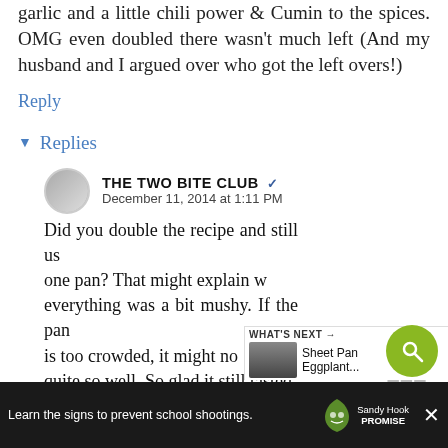garlic and a little chili power & Cumin to the spices. OMG even doubled there wasn't much left (And my husband and I argued over who got the left overs!)
Reply
▾ Replies
THE TWO BITE CLUB ✔
December 11, 2014 at 1:11 PM
Did you double the recipe and still use one pan? That might explain why everything was a bit mushy. If the pan is too crowded, it might not roast quite so well. So glad it still tasted
[Figure (screenshot): Green search button circle, blue heart circle, share circle with 250 count label]
[Figure (screenshot): What's Next panel showing thumbnail and Sheet Pan Eggplant... text]
[Figure (screenshot): Advertisement bar: Learn the signs to prevent school shootings. Sandy Hook Promise logo with close button]